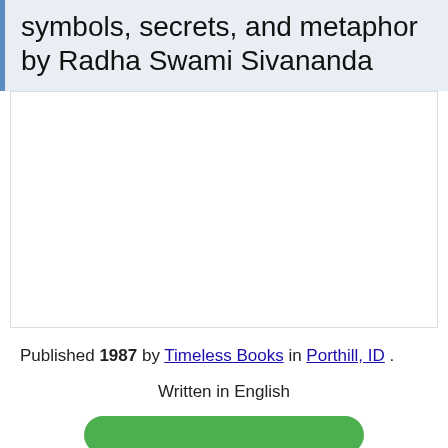symbols, secrets, and metaphor by Radha Swami Sivananda
[Figure (other): Empty white content area representing a book cover image placeholder]
Published 1987 by Timeless Books in Porthill, ID .
Written in English
[Figure (other): Green rounded button (call to action)]